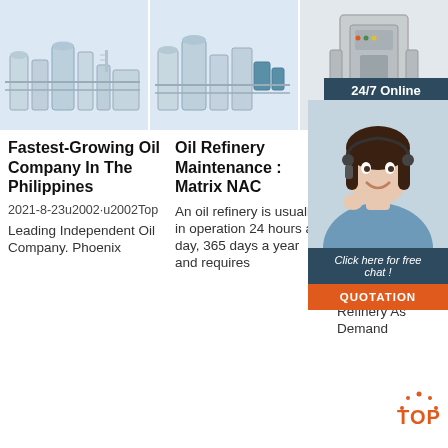[Figure (photo): Industrial oil refinery equipment with large metal tanks and pipes on light blue background]
[Figure (photo): Industrial oil refinery machinery with cylindrical tanks and blue equipment on light blue background]
[Figure (photo): Oil press/refinery machine on light background with 24/7 Online dark blue banner overlay]
[Figure (photo): Customer service representative woman with headset smiling, with chat widget overlay showing 'Click here for free chat!' and orange QUOTATION button]
Fastest-Growing Oil Company In The Philippines
2021-8-23u2002·u2002Top
Leading Independent Oil Company. Phoenix
Oil Refinery Maintenance : Matrix NAC
An oil refinery is usually in operation 24 hours a day, 365 days a year and requires
2021-8-6u2002·u2002SP OAC
Halts Philippines Oil Refinery As Demand
Click here for free chat !
QUOTATION